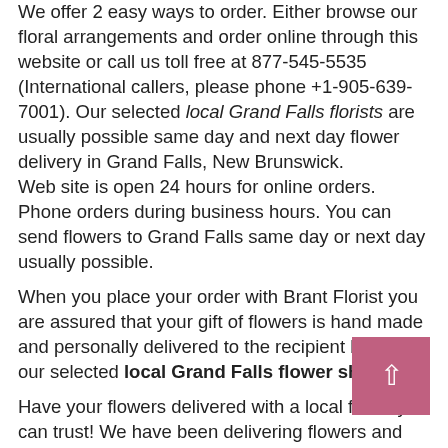We offer 2 easy ways to order. Either browse our floral arrangements and order online through this website or call us toll free at 877-545-5535 (International callers, please phone +1-905-639-7001). Our selected local Grand Falls florists are usually possible same day and next day flower delivery in Grand Falls, New Brunswick.
Web site is open 24 hours for online orders. Phone orders during business hours. You can send flowers to Grand Falls same day or next day usually possible.
When you place your order with Brant Florist you are assured that your gift of flowers is hand made and personally delivered to the recipient by one of our selected local Grand Falls flower shops.
Have your flowers delivered with a local florist you can trust! We have been delivering flowers and servicing our customers in Grand Falls for over 58 years! Brant Florist is a REAL flower shop providing Grand Falls flowers delivered.
Online, around the corner or around the world — we are a top FTD online Grand Falls florist. Your floral arrangement will be delivered by a local Flower Shop in